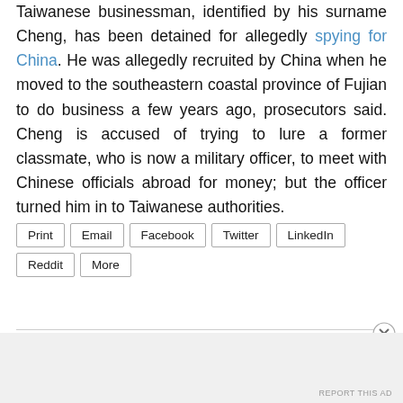Taiwanese businessman, identified by his surname Cheng, has been detained for allegedly spying for China. He was allegedly recruited by China when he moved to the southeastern coastal province of Fujian to do business a few years ago, prosecutors said. Cheng is accused of trying to lure a former classmate, who is now a military officer, to meet with Chinese officials abroad for money; but the officer turned him in to Taiwanese authorities.
Print
Email
Facebook
Twitter
LinkedIn
Reddit
More
Advertisements